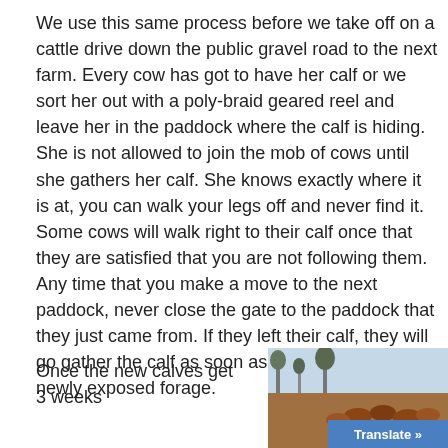We use this same process before we take off on a cattle drive down the public gravel road to the next farm. Every cow has got to have her calf or we sort her out with a poly-braid geared reel and leave her in the paddock where the calf is hiding. She is not allowed to join the mob of cows until she gathers her calf. She knows exactly where it is at, you can walk your legs off and never find it. Some cows will walk right to their calf once that they are satisfied that you are not following them. Any time that you make a move to the next paddock, never close the gate to the paddock that they just came from. If they left their calf, they will go gather the calf as soon as they fill up on the newly exposed forage.
Once the new calves get 3 weeks
[Figure (photo): Outdoor photo showing cattle/livestock in a field with trees in the background]